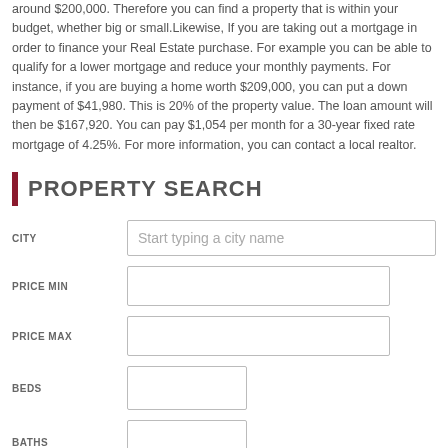around $200,000. Therefore you can find a property that is within your budget, whether big or small.Likewise, If you are taking out a mortgage in order to finance your Real Estate purchase. For example you can be able to qualify for a lower mortgage and reduce your monthly payments. For instance, if you are buying a home worth $209,000, you can put a down payment of $41,980. This is 20% of the property value. The loan amount will then be $167,920. You can pay $1,054 per month for a 30-year fixed rate mortgage of 4.25%. For more information, you can contact a local realtor.
PROPERTY SEARCH
[Figure (other): Property search form with fields: CITY (text input with placeholder 'Start typing a city name'), PRICE MIN (empty input), PRICE MAX (empty input), BEDS (small empty input), BATHS (small empty input), and a red search button at the bottom.]